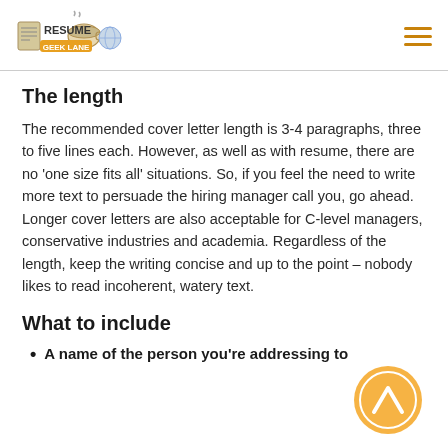Resume Geek Logo and hamburger menu
The length
The recommended cover letter length is 3-4 paragraphs, three to five lines each. However, as well as with resume, there are no 'one size fits all' situations. So, if you feel the need to write more text to persuade the hiring manager call you, go ahead. Longer cover letters are also acceptable for C-level managers, conservative industries and academia. Regardless of the length, keep the writing concise and up to the point – nobody likes to read incoherent, watery text.
What to include
A name of the person you're addressing to